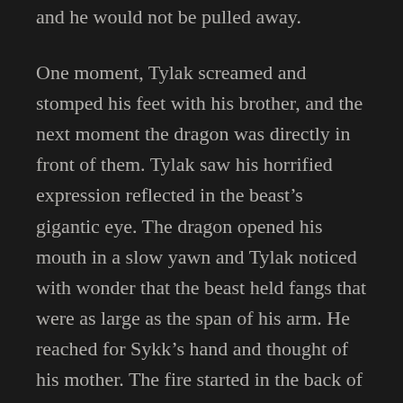and he would not be pulled away.
One moment, Tylak screamed and stomped his feet with his brother, and the next moment the dragon was directly in front of them. Tylak saw his horrified expression reflected in the beast’s gigantic eye. The dragon opened his mouth in a slow yawn and Tylak noticed with wonder that the beast held fangs that were as large as the span of his arm. He reached for Sykk’s hand and thought of his mother. The fire started in the back of the dragons throat and gushed forward in a rush of brilliant red.
Sykk had screamed, they all had. But Sykk had thrust out his arms and when he did the fire shot back toward the dragon, curving away from the crowd and back at the dragon’s face. He roared in fury and swept down to